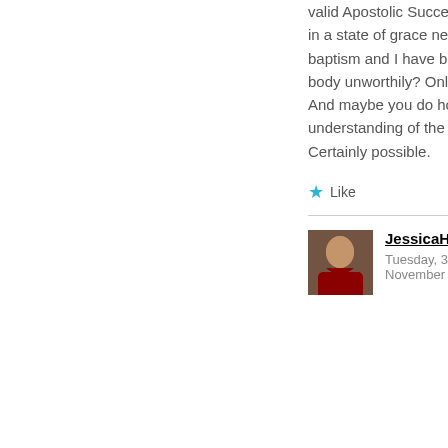valid Apostolic Succession. But maybe you are in a state of grace nevertheless by virtue of your baptism and I have been partaking in the Lord's body unworthily? Only God knows our hearts. And maybe you do hold a more orthodox understanding of the faith than most Catholics? Certainly possible.
Like
JessicaHof said: Tuesday, 3 November 2020 at